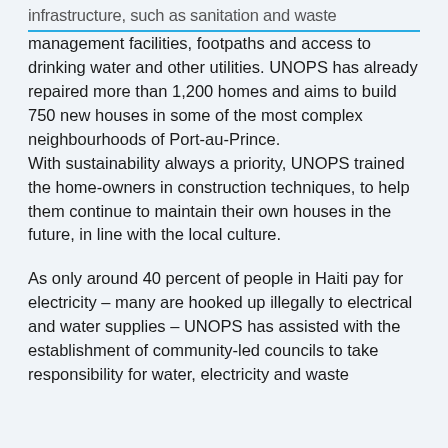infrastructure, such as sanitation and waste management facilities, footpaths and access to drinking water and other utilities. UNOPS has already repaired more than 1,200 homes and aims to build 750 new houses in some of the most complex neighbourhoods of Port-au-Prince.
With sustainability always a priority, UNOPS trained the home-owners in construction techniques, to help them continue to maintain their own houses in the future, in line with the local culture.
As only around 40 percent of people in Haiti pay for electricity – many are hooked up illegally to electrical and water supplies – UNOPS has assisted with the establishment of community-led councils to take responsibility for water, electricity and waste